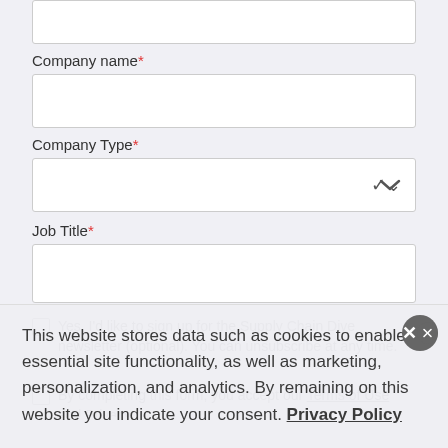Company name*
Company Type*
Job Title*
Yes, I'd like to sign up for the Supply Chain Dive newsletter (optional). You can unsubscribe at any time.
By completing this form, you accept our Terms of Use and Privacy
This website stores data such as cookies to enable essential site functionality, as well as marketing, personalization, and analytics. By remaining on this website you indicate your consent. Privacy Policy